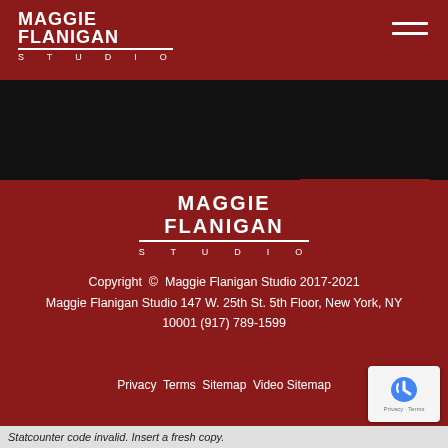MAGGIE FLANIGAN STUDIO
[Figure (logo): Maggie Flanigan Studio logo top left in white on dark red header]
[Figure (illustration): Hamburger menu icon top right]
[Figure (screenshot): SEND button on black background]
[Figure (logo): Maggie Flanigan Studio footer logo centered on dark red background]
Copyright © Maggie Flanigan Studio 2017-2021
Maggie Flanigan Studio 147 W. 25th St. 5th Floor, New York, NY 10001 (917) 789-1599
Privacy Terms Sitemap Video Sitemap
[Figure (illustration): reCAPTCHA badge bottom right]
Statcounter code invalid. Insert a fresh copy.